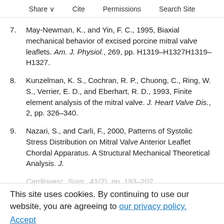Share  Cite  Permissions  Search Site
7. May-Newman, K., and Yin, F. C., 1995, Biaxial mechanical behavior of excised porcine mitral valve leaflets. Am. J. Physiol., 269, pp. H1319–H1327H1319–H1327.
8. Kunzelman, K. S., Cochran, R. P., Chuong, C., Ring, W. S., Verrier, E. D., and Eberhart, R. D., 1993, Finite element analysis of the mitral valve. J. Heart Valve Dis., 2, pp. 326–340.
9. Nazari, S., and Carli, F., 2000, Patterns of Systolic Stress Distribution on Mitral Valve Anterior Leaflet Chordal Apparatus. A Structural Mechanical Theoretical Analysis. J. Cardiovasc. Surg., 41(2), pp. 193–202.
This site uses cookies. By continuing to use our website, you are agreeing to our privacy policy. Accept